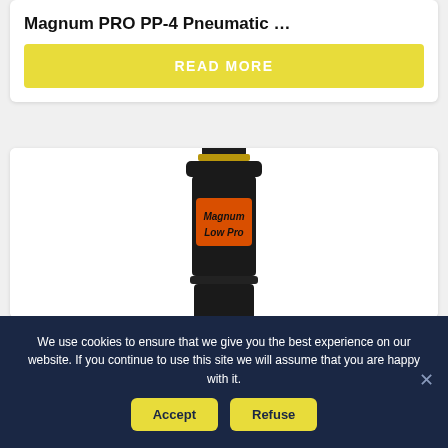Magnum PRO PP-4 Pneumatic …
READ MORE
[Figure (photo): Close-up photo of a black pneumatic device labeled 'Magnum Low Pro' with an orange label, featuring a knurled black top knob and cylindrical black body with ridged edges.]
We use cookies to ensure that we give you the best experience on our website. If you continue to use this site we will assume that you are happy with it.
Accept
Refuse